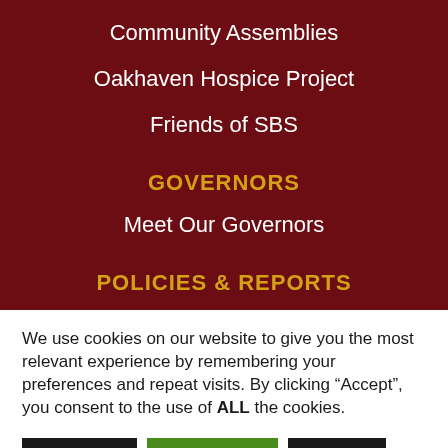Community Assemblies
Oakhaven Hospice Project
Friends of SBS
GOVERNORS
Meet Our Governors
POLICIES & REPORTS
Policies & Reports
We use cookies on our website to give you the most relevant experience by remembering your preferences and repeat visits. By clicking “Accept”, you consent to the use of ALL the cookies.
Settings | Accept All | Reject